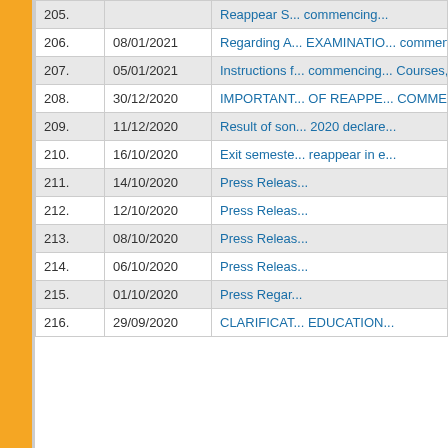| No. | Date | Title |
| --- | --- | --- |
| 205. |  | Reappear S... commencing... |
| 206. | 08/01/2021 | Regarding A... EXAMINATION... commencing... |
| 207. | 05/01/2021 | Instructions f... commencing... Courses, De... |
| 208. | 30/12/2020 | IMPORTANT... OF REAPPE... COMMENCI... |
| 209. | 11/12/2020 | Result of son... 2020 declare... |
| 210. | 16/10/2020 | Exit semeste... reappear in e... |
| 211. | 14/10/2020 | Press Releas... |
| 212. | 12/10/2020 | Press Releas... |
| 213. | 08/10/2020 | Press Releas... |
| 214. | 06/10/2020 | Press Releas... |
| 215. | 01/10/2020 | Press Regar... |
| 216. | 29/09/2020 | CLARIFICAT... EDUCATION... |